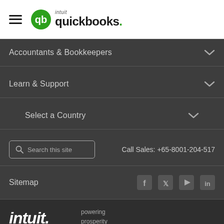[Figure (logo): Intuit QuickBooks logo with hamburger menu icon in white header bar]
Accountants & Bookkeepers
Learn & Support
Select a Country
Search this site   Call Sales: +65-8001-204-517
Sitemap
[Figure (logo): Intuit wordmark with 'powering prosperity' tagline and app icon circles below]